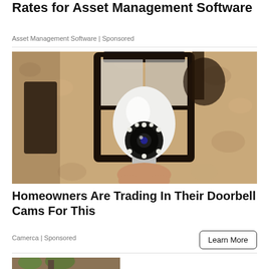Rates for Asset Management Software
Asset Management Software | Sponsored
[Figure (photo): A security camera shaped like a light bulb mounted inside an outdoor wall lantern fixture on a textured stucco wall]
Homeowners Are Trading In Their Doorbell Cams For This
Camerca | Sponsored
Learn More